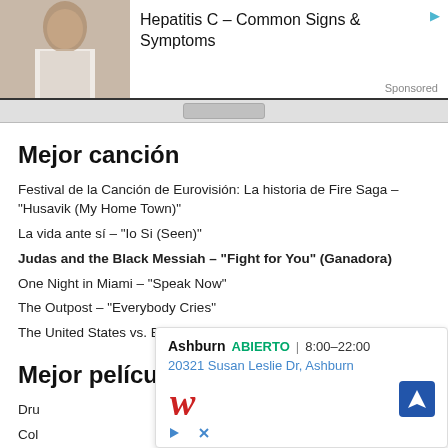[Figure (screenshot): Top banner advertisement: Hepatitis C - Common Signs & Symptoms with a photo of a woman and Sponsored label]
Mejor canción
Festival de la Canción de Eurovisión: La historia de Fire Saga – "Husavik (My Home Town)"
La vida ante sí – "Io Si (Seen)"
Judas and the Black Messiah – "Fight for You" (Ganadora)
One Night in Miami – "Speak Now"
The Outpost – "Everybody Cries"
The United States vs. Billie Holiday – "Tigress & Tweed"
Mejor película extranjera
Dru...
Col...
La...
[Figure (screenshot): Bottom overlay ad: Walgreens - Ashburn ABIERTO 8:00-22:00, 20321 Susan Leslie Dr, Ashburn with navigation icon]